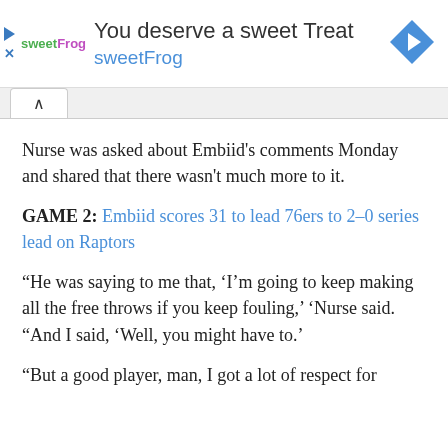[Figure (screenshot): SweetFrog advertisement banner with logo, text 'You deserve a sweet Treat', brand name 'sweetFrog', and a blue diamond navigation arrow icon on the right.]
Nurse was asked about Embiid's comments Monday and shared that there wasn't much more to it.
GAME 2: Embiid scores 31 to lead 76ers to 2-0 series lead on Raptors
“He was saying to me that, ‘I’m going to keep making all the free throws if you keep fouling,’ ‘Nurse said. “And I said, ‘Well, you might have to.’
“But a good player, man, I got a lot of respect for